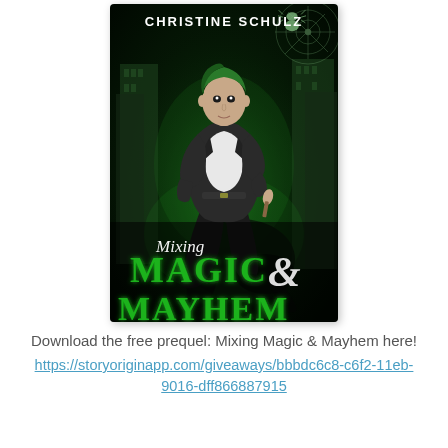[Figure (illustration): Book cover for 'Mixing Magic & Mayhem' by Christine Schulz. Dark green-tinted urban fantasy cover showing a young woman with short green hair in a black jacket crouching atop a shadowy figure, with glowing green city buildings and a spiderweb in the background. Title text at bottom reads 'Mixing MAGIC & MAYHEM' in green lettering, with 'Mixing' in cursive script. Author name 'Christine Schulz' at top.]
Download the free prequel: Mixing Magic & Mayhem here! https://storyoriginapp.com/giveaways/bbbdc6c8-c6f2-11eb-9016-dff866887915